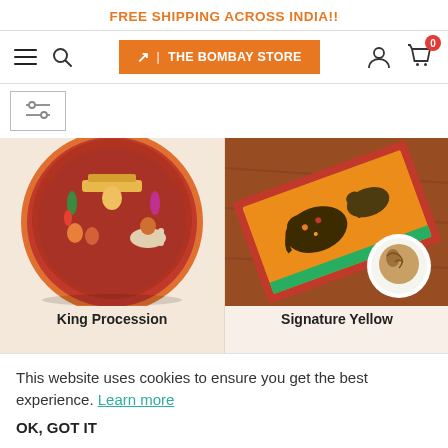FREE SHIPPING ACROSS INDIA!!
[Figure (screenshot): Navigation bar with hamburger menu, search icon, The Bombay Store logo button, user icon, and cart icon with badge showing 0]
[Figure (infographic): Filter/sort icon button in a square border]
[Figure (photo): King Procession decorative plate with Rajasthani miniature painting on red background]
King Procession
[Figure (photo): Signature Yellow decorative tray with elephant motif on orange/yellow background, with coffee cup]
Signature Yellow
This website uses cookies to ensure you get the best experience. Learn more
OK, GOT IT